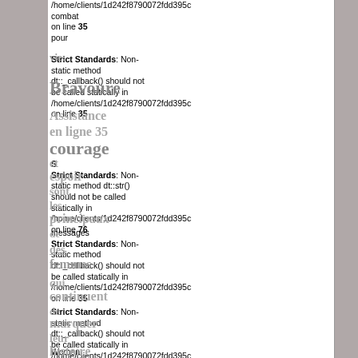/home/clients/1d242f8790072fdd395c combat on line 35 pour
Strict Standards: Non-static method dt::_callback() should not be called statically in /home/clients/1d242f8790072fdd395c on line 35
vie. Bravoure Assistance en ligne 35 courage
Strict Standards: Non-static method dt::str() should not be called statically in /home/clients/1d242f8790072fdd395c on line 76
et espoir sont les principaux messages de des femmes qui continuent de marquer leur histoire
Strict Standards: Non-static method dt::_callback() should not be called statically in /home/clients/1d242f8790072fdd395c on line 35
Strict Standards: Non-static method dt::_callback() should not be called statically in /home/clients/1d242f8790072fdd395c on line 35
Women Strict Standards: Non-